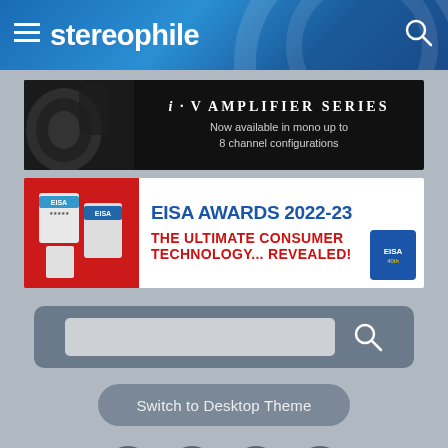stereophile
[Figure (screenshot): i·V Amplifier Series advertisement banner — black background with speaker/amplifier image on left, white text: 'i·V AMPLIFIER SERIES — Now available in mono up to 8 channel configurations']
[Figure (screenshot): EISA Awards 2022-23 advertisement banner — white background, EISA award trophies on left, blue text 'EISA AWARDS 2022-23', red text 'THE ULTIMATE CONSUMER TECHNOLOGY... REVEALED!', EISA logo badge on right]
[Figure (screenshot): Search bar with dark grey background, light grey input field, and magnifying glass search button]
Switch to Desktop Theme
[Figure (infographic): Social media icons row: Facebook, Twitter, YouTube, Instagram — all in dark grey circles]